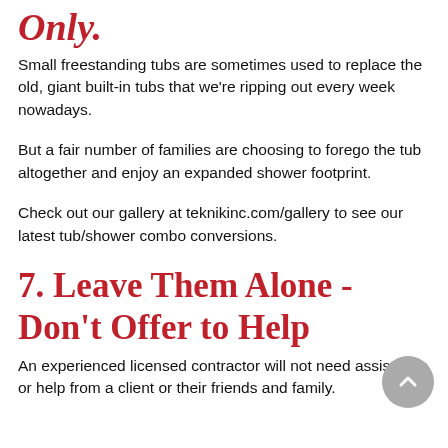Only.
Small freestanding tubs are sometimes used to replace the old, giant built-in tubs that we're ripping out every week nowadays.
But a fair number of families are choosing to forego the tub altogether and enjoy an expanded shower footprint.
Check out our gallery at teknikinc.com/gallery to see our latest tub/shower combo conversions.
7. Leave Them Alone - Don't Offer to Help
An experienced licensed contractor will not need assistance or help from a client or their friends and family.